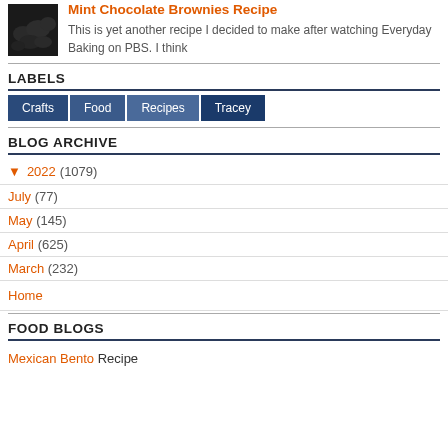[Figure (photo): Thumbnail photo of chocolate brownies, dark colored]
Mint Chocolate Brownies Recipe
This is yet another recipe I decided to make after watching Everyday Baking on PBS. I think
LABELS
Crafts
Food
Recipes
Tracey
BLOG ARCHIVE
▼ 2022 (1079)
July (77)
May (145)
April (625)
March (232)
Home
FOOD BLOGS
Mexican Bento Recipe